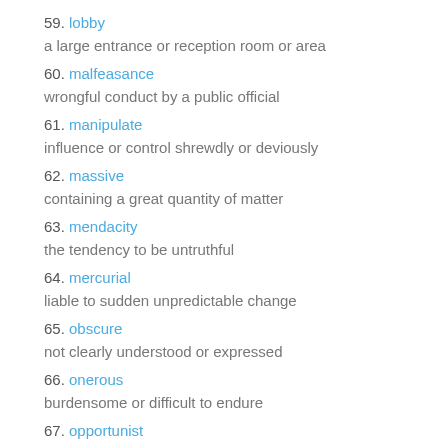59. lobby
a large entrance or reception room or area
60. malfeasance
wrongful conduct by a public official
61. manipulate
influence or control shrewdly or deviously
62. massive
containing a great quantity of matter
63. mendacity
the tendency to be untruthful
64. mercurial
liable to sudden unpredictable change
65. obscure
not clearly understood or expressed
66. onerous
burdensome or difficult to endure
67. opportunist